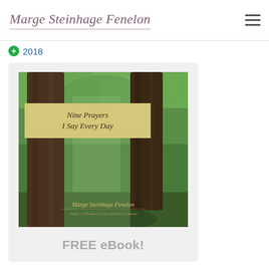Marge Steinhage Fenelon
2018
[Figure (photo): Book cover for 'Nine Prayers I Say Every Day' by Marge Steinhage Fenelon, featuring tall trees in a forest with green foliage and a golden/yellow banner with the title text]
FREE eBook!